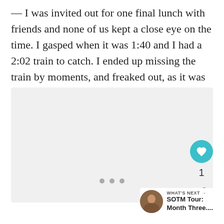— I was invited out for one final lunch with friends and none of us kept a close eye on the time. I gasped when it was 1:40 and I had a 2:02 train to catch. I ended up missing the train by moments, and freaked out, as it was the first in a chain of several bookings.
[Figure (photo): A light gray placeholder image area with three small gray dots at the bottom center indicating an image carousel. On the right side there are interactive buttons: a teal heart/like button, a count of 1, and a share button. Below is a 'WHAT'S NEXT' card showing a thumbnail photo and the text 'SOTM Tour: Month Three....']